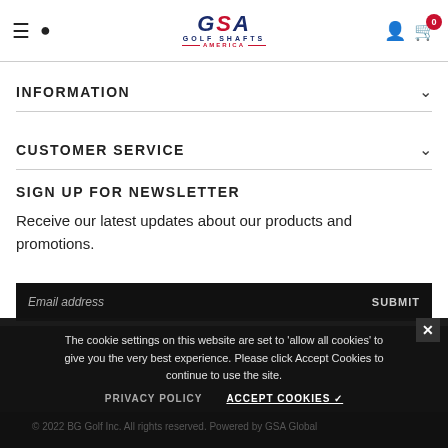GSA Golf Shafts America — Navigation header with menu, search, logo, user, and cart icons
INFORMATION
CUSTOMER SERVICE
SIGN UP FOR NEWSLETTER
Receive our latest updates about our products and promotions.
Email address   SUBMIT
The cookie settings on this website are set to 'allow all cookies' to give you the very best experience. Please click Accept Cookies to continue to use the site.
PRIVACY POLICY   ACCEPT COOKIES ✓
© 2022 BG Golf Inc. All rights reserved. Powered by GSA Global